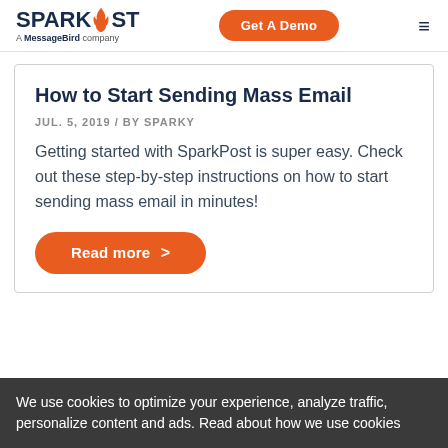SPARKPOST A MessageBird company | Get A Demo
How to Start Sending Mass Email
JUL. 5, 2019 / BY SPARKY
Getting started with SparkPost is super easy. Check out these step-by-step instructions on how to start sending mass email in minutes!
Read more >
We use cookies to optimize your experience, analyze traffic, personalize content and ads. Read about how we use cookies